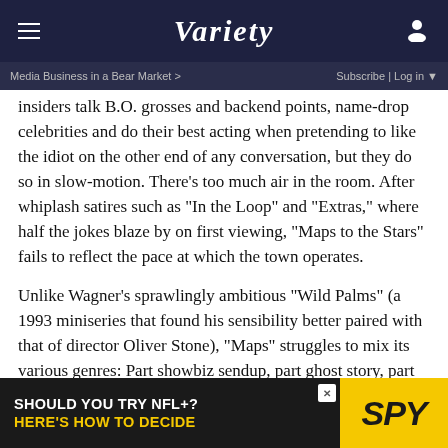VARIETY
Media Business in a Bear Market >   Subscribe | Log in
insiders talk B.O. grosses and backend points, name-drop celebrities and do their best acting when pretending to like the idiot on the other end of any conversation, but they do so in slow-motion. There’s too much air in the room. After whiplash satires such as “In the Loop” and “Extras,” where half the jokes blaze by on first viewing, “Maps to the Stars” fails to reflect the pace at which the town operates.
Unlike Wagner’s sprawlingly ambitious “Wild Palms” (a 1993 miniseries that found his sensibility better paired with that of director Oliver Stone), “Maps” struggles to mix its various genres: Part showbiz sendup, part ghost story, part dysfunctional-family drama, the movie instead comes across as so much jaded mumbo-jumbo. In addition to its various pseudo-astrological connotations, the pic’s play-or
[Figure (screenshot): Advertisement banner: 'SHOULD YOU TRY NFL+? HERE'S HOW TO DECIDE' with SPY logo on yellow background]